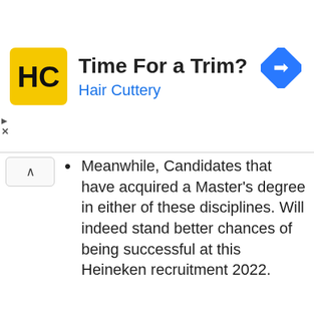[Figure (infographic): Advertisement banner for Hair Cuttery salon. Shows HC logo on yellow background, text 'Time For a Trim?' and 'Hair Cuttery' in blue, with a blue navigation/directions diamond icon on the right.]
Meanwhile, Candidates that have acquired a Master’s degree in either of these disciplines. Will indeed stand better chances of being successful at this Heineken recruitment 2022.
The Officials that arranged this Heineken recruitment process made it clear that Applicants possess anything higher than two years of relevant work experience. Will not be considered for this Heineken International Graduate program 2022/2023.
Applicants should note that the work experience acquired by volunteering or